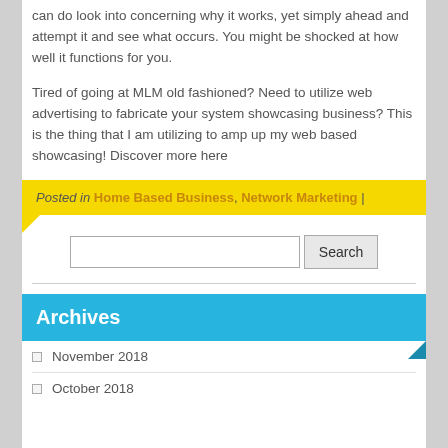can do look into concerning why it works, yet simply ahead and attempt it and see what occurs. You might be shocked at how well it functions for you.

Tired of going at MLM old fashioned? Need to utilize web advertising to fabricate your system showcasing business? This is the thing that I am utilizing to amp up my web based showcasing! Discover more here
Posted in Home Based Business, Network Marketing |
Search
Archives
November 2018
October 2018